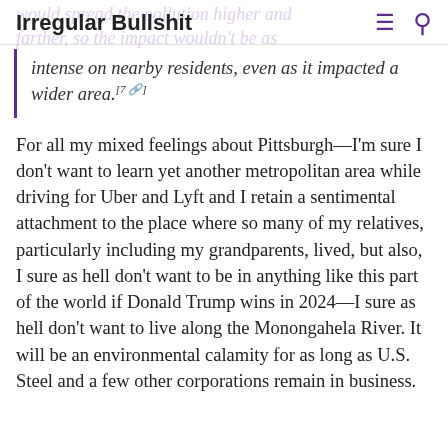Irregular Bullshit
intense on nearby residents, even as it impacted a wider area.[7]
For all my mixed feelings about Pittsburgh—I'm sure I don't want to learn yet another metropolitan area while driving for Uber and Lyft and I retain a sentimental attachment to the place where so many of my relatives, particularly including my grandparents, lived, but also, I sure as hell don't want to be in anything like this part of the world if Donald Trump wins in 2024—I sure as hell don't want to live along the Monongahela River. It will be an environmental calamity for as long as U.S. Steel and a few other corporations remain in business.